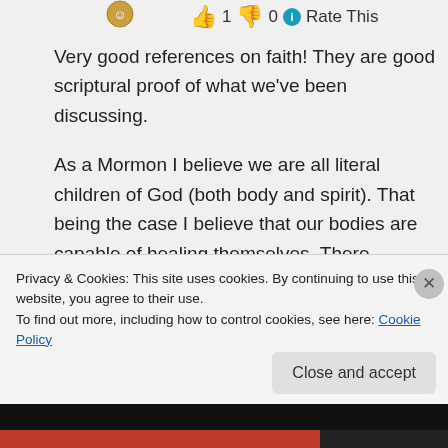[Figure (other): Avatar icon circle at top left]
👍 1 👎 0 ℹ Rate This
Very good references on faith! They are good scriptural proof of what we've been discussing.

As a Mormon I believe we are all literal children of God (both body and spirit). That being the case I believe that our bodies are capable of healing themselves. There certainly is a mind-body connection.
Privacy & Cookies: This site uses cookies. By continuing to use this website, you agree to their use.
To find out more, including how to control cookies, see here: Cookie Policy
Close and accept